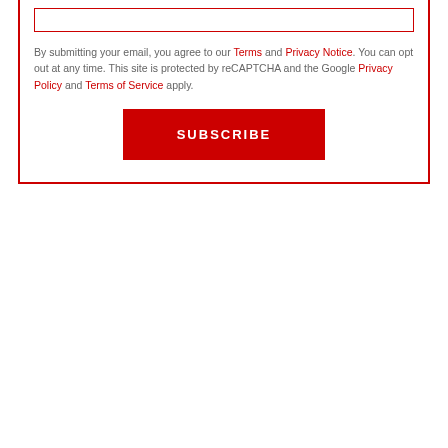By submitting your email, you agree to our Terms and Privacy Notice. You can opt out at any time. This site is protected by reCAPTCHA and the Google Privacy Policy and Terms of Service apply.
SUBSCRIBE